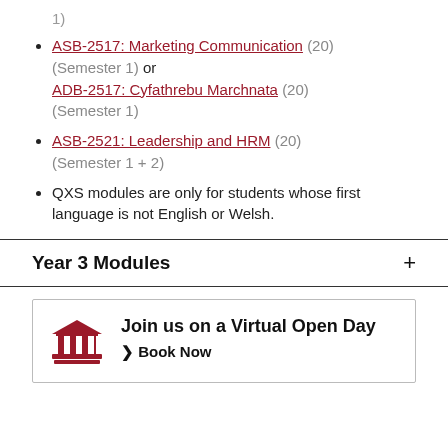1)
ASB-2517: Marketing Communication (20) (Semester 1) or ADB-2517: Cyfathrebu Marchnata (20) (Semester 1)
ASB-2521: Leadership and HRM (20) (Semester 1 + 2)
QXS modules are only for students whose first language is not English or Welsh.
Year 3 Modules
Join us on a Virtual Open Day  Book Now